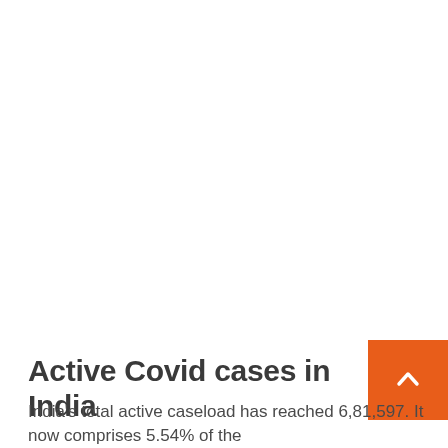Active Covid cases in India
India's total active caseload has reached 6,81,597. It now comprises 5.54% of the